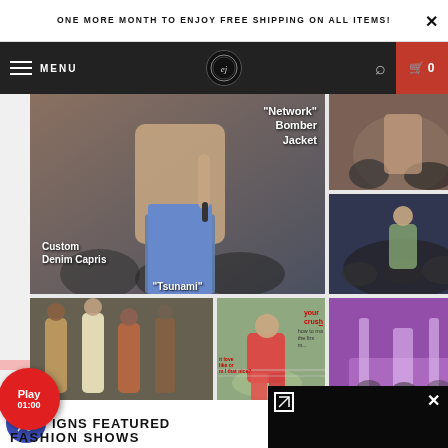ONE MORE MONTH TO ENJOY FREE SHIPPING ON ALL ITEMS!
[Figure (screenshot): Website navigation bar with hamburger menu, MENU text, circular logo, search icon, and red cart with 0]
[Figure (photo): Grid of fashion/lifestyle photos: muscular person in custom denim capris, Network Bomber Jacket overlay text, party crowd, fashion show models, tennis player, nightclub event, and Tsunami text]
[Figure (other): Red circular play button showing Play 01:00]
DESIGNS FEATURED
FASHION SHOWS
[Figure (screenshot): Black video popup overlay with expand icon and close X button]